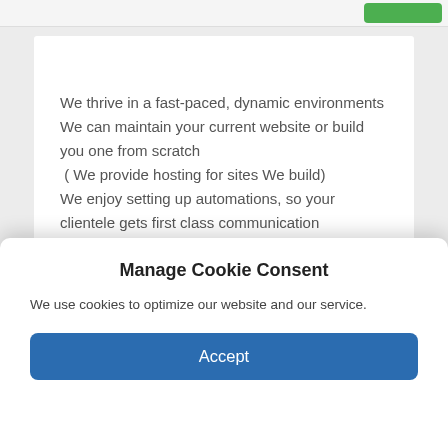We thrive in a fast-paced, dynamic environments
We can maintain your current website or build you one from scratch
 ( We provide hosting for sites We build)
We enjoy setting up automations, so your clientele gets first class communication
We are experts at managing emails, calendars, tasks, and contacts
We are skilled in handling highly sensitive and
Manage Cookie Consent
We use cookies to optimize our website and our service.
Accept